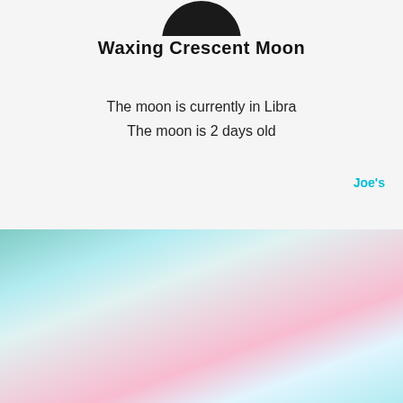[Figure (illustration): Partial black circle representing a waxing crescent moon, cropped at the top of the page]
Waxing Crescent Moon
The moon is currently in Libra
The moon is 2 days old
Joe's
[Figure (screenshot): A dark search input bar with a red circular button on the right, set against a pastel watercolor background of teal, pink, and blue tones]
Contents 2011-2018 Little Red Tarot & all the amazing writers who have shared their stories here.